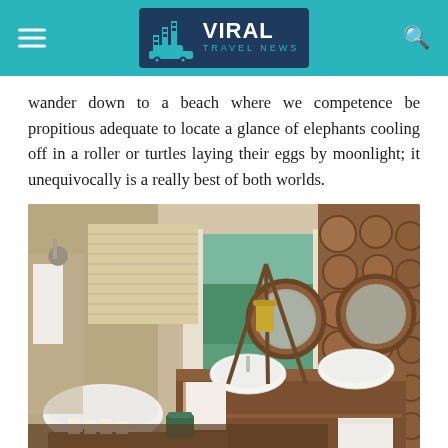Viral Travel News
wander down to a beach where we competence be propitious adequate to locate a glance of elephants cooling off in a roller or turtles laying their eggs by moonlight; it unequivocally is a really best of both worlds.
[Figure (photo): Luxury safari lodge bathroom with freestanding white bathtub, wooden vanity with two round vessel sinks, circular mirrors framed in stacked log wood, and open views to outdoor pool and trees through glass doors.]